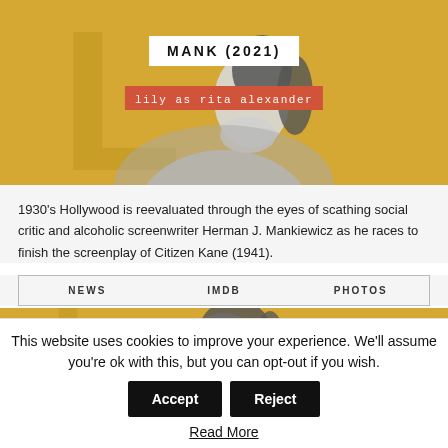[Figure (photo): Black and white photo of a woman looking upward, against a golden/yellow background. Film card for Mank (2021).]
MANK (2021)
lily as rita alexander
1930's Hollywood is reevaluated through the eyes of scathing social critic and alcoholic screenwriter Herman J. Mankiewicz as he races to finish the screenplay of Citizen Kane (1941).
NEWS   IMDB   PHOTOS
[Figure (photo): Partial black and white photo of another woman against a golden/yellow background, partially shown at the bottom of the card.]
This website uses cookies to improve your experience. We'll assume you're ok with this, but you can opt-out if you wish.
Read More